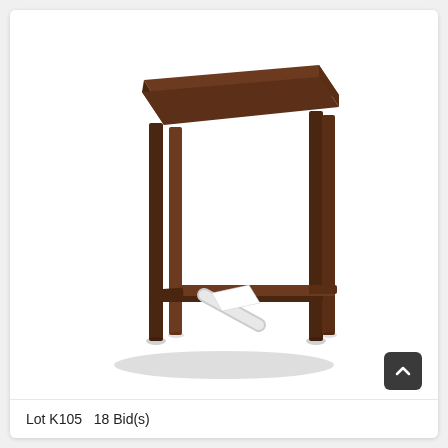[Figure (photo): A dark brown wooden bar stool with four straight legs connected by horizontal stretchers, viewed from a slight angle. The stool has a flat rectangular seat and casts a shadow on the white background.]
Lot K105   18 Bid(s)